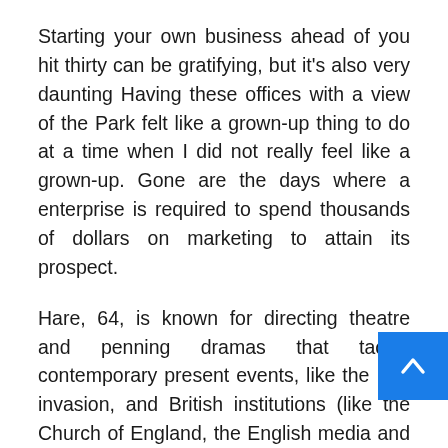Starting your own business ahead of you hit thirty can be gratifying, but it's also very daunting Having these offices with a view of the Park felt like a grown-up thing to do at a time when I did not really feel like a grown-up. Gone are the days where a enterprise is required to spend thousands of dollars on marketing to attain its prospect.
Hare, 64, is known for directing theatre and penning dramas that tackle contemporary present events, like the Iraq invasion, and British institutions (like the Church of England, the English media and the Labor Celebration). Nearby company owners realize that they Have to commit money to develop their enterprise or they will speedily b of enterprise. Nowadays he has a qu developing nationwide network of company